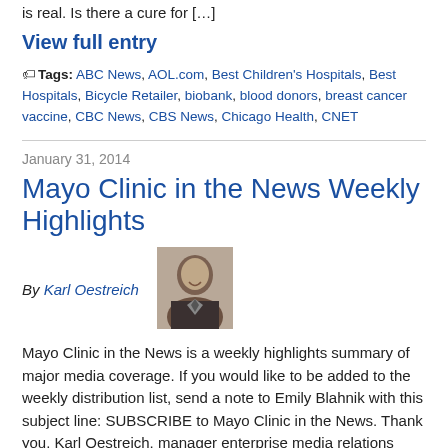is real. Is there a cure for […]
View full entry
Tags: ABC News, AOL.com, Best Children's Hospitals, Best Hospitals, Bicycle Retailer, biobank, blood donors, breast cancer vaccine, CBC News, CBS News, Chicago Health, CNET
January 31, 2014
Mayo Clinic in the News Weekly Highlights
By Karl Oestreich
[Figure (photo): Black and white portrait photo of Karl Oestreich]
Mayo Clinic in the News is a weekly highlights summary of major media coverage. If you would like to be added to the weekly distribution list, send a note to Emily Blahnik with this subject line: SUBSCRIBE to Mayo Clinic in the News. Thank you. Karl Oestreich, manager enterprise media relations Modern Healthcare Symptoms, diagnosis and a prescription: How […]
View full entry
Tags: Acuos Digital.com, Albert Lea Tribune, alcohol, Amber Sherman